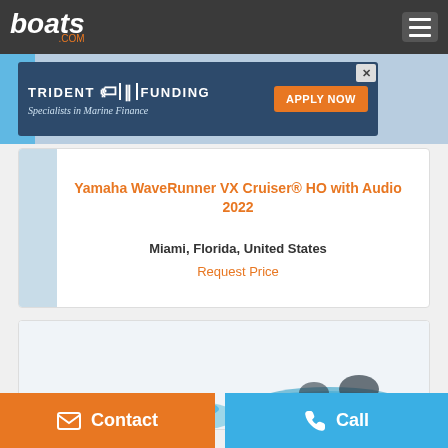boats .com
[Figure (screenshot): Trident Funding advertisement banner — dark blue background with 'TRIDENT FUNDING' logo, 'Specialists in Marine Finance' subtitle, orange 'APPLY NOW' button, and an X close button.]
Yamaha WaveRunner VX Cruiser® HO with Audio 2022
Miami, Florida, United States
Request Price
[Figure (photo): Partial view of a WaveRunner personal watercraft, showing the rear portion with cyan/blue coloring.]